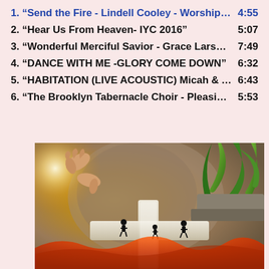1. “Send the Fire - Lindell Cooley - Worship ...	4:55
2. “Hear Us From Heaven- IYC 2016"	5:07
3. “Wonderful Merciful Savior - Grace Larson"	7:49
4. “DANCE WITH ME -GLORY COME DOWN"	6:32
5. “HABITATION (LIVE ACOUSTIC) Micah & A...	6:43
6. “The Brooklyn Tabernacle Choir - Pleasing"	5:53
[Figure (illustration): Religious illustration showing a large white cross with small human silhouettes standing on it, a divine light and hands reaching from the upper left, green plants in the upper right, and orange/red lava or fire at the bottom.]